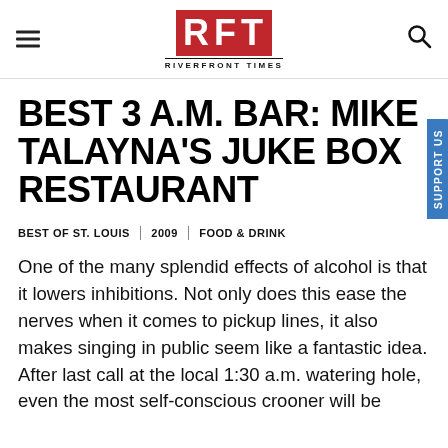RFT RIVERFRONT TIMES
BEST 3 A.M. BAR: MIKE TALAYNA'S JUKE BOX RESTAURANT
BEST OF ST. LOUIS | 2009 | FOOD & DRINK
One of the many splendid effects of alcohol is that it lowers inhibitions. Not only does this ease the nerves when it comes to pickup lines, it also makes singing in public seem like a fantastic idea. After last call at the local 1:30 a.m. watering hole, even the most self-conscious crooner will be